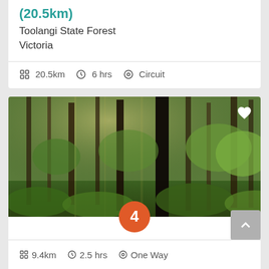(20.5km)
Toolangi State Forest
Victoria
20.5km  6 hrs  Circuit
[Figure (photo): Forest scene with tall eucalyptus trees and green undergrowth, sunlight filtering through the canopy. Number badge '4' overlaid at the bottom center. Heart icon at top right corner.]
Morley Walking Track (9.4km)
Black Range State Forest
Victoria
9.4km  2.5 hrs  One Way